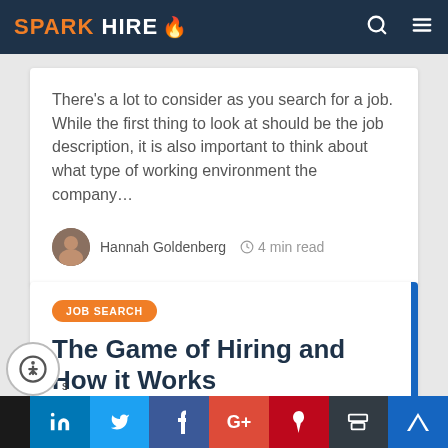SPARK HIRE
There's a lot to consider as you search for a job. While the first thing to look at should be the job description, it is also important to think about what type of working environment the company...
Hannah Goldenberg  4 min read
JOB SEARCH
The Game of Hiring and How it Works
Being a job seeker in today's market can